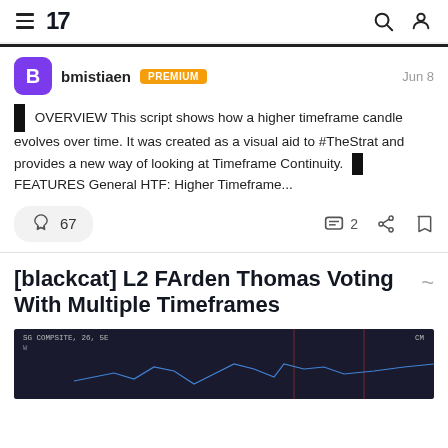TradingView navigation header with hamburger menu, logo '17', search icon, and user icon
bmistiaen PREMIUM Jun 8
OVERVIEW This script shows how a higher timeframe candle evolves over time. It was created as a visual aid to #TheStrat and provides a new way of looking at Timeframe Continuity. ■ FEATURES General HTF: Higher Timeframe...
🚀 67   💬 2
[blackcat] L2 FArden Thomas Voting With Multiple Timeframes
[Figure (screenshot): Dark chart thumbnail showing a trading chart with candlesticks and price data]